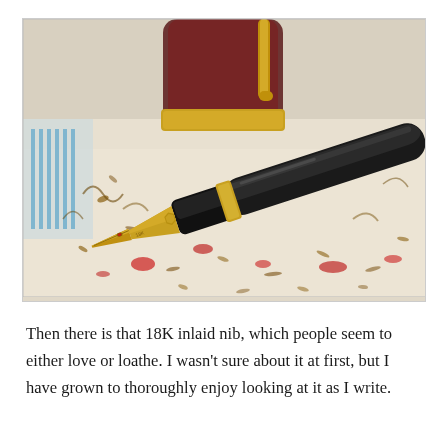[Figure (photo): Close-up photograph of a fountain pen with an 18K gold inlaid nib resting on a decorative paper with red and gold splatters. In the background, the cap of the pen (dark red/burgundy with gold trim) is visible, along with blue striped paper.]
Then there is that 18K inlaid nib, which people seem to either love or loathe. I wasn't sure about it at first, but I have grown to thoroughly enjoy looking at it as I write.